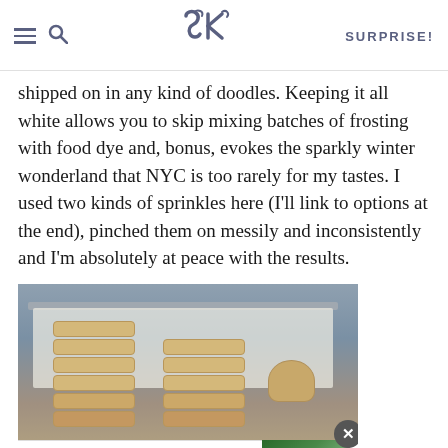SK | SURPRISE!
shipped on in any kind of doodles. Keeping it all white allows you to skip mixing batches of frosting with food dye and, bonus, evokes the sparkly winter wonderland that NYC is too rarely for my tastes. I used two kinds of sprinkles here (I’ll link to options at the end), pinched them on messily and inconsistently and I’m absolutely at peace with the results.
[Figure (photo): Stacked square shortbread cookies on a baking tray, with an advertisement banner overlay at the bottom reading 'Discover the unsearchable' and 'DiscoverTheForest.org']